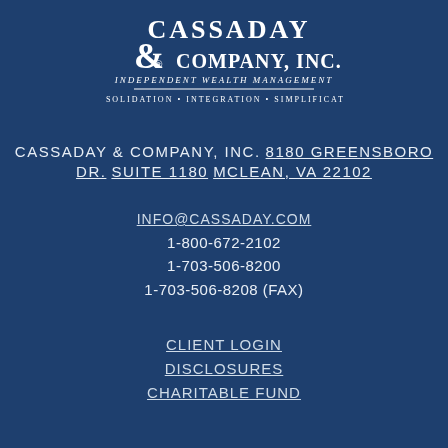[Figure (logo): Cassaday & Company, Inc. logo with Independent Wealth Management tagline and Consolidation • Integration • Simplification subtitle]
CASSADAY & COMPANY, INC.
8180 GREENSBORO DR.
SUITE 1180
MCLEAN, VA 22102
INFO@CASSADAY.COM
1-800-672-2102
1-703-506-8200
1-703-506-8208 (FAX)
CLIENT LOGIN
DISCLOSURES
CHARITABLE FUND